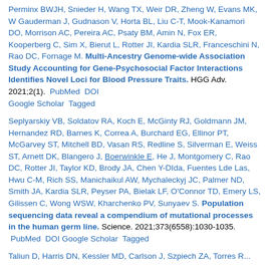Perminx BWJH, Snieder H, Wang TX, Weir DR, Zheng W, Evans MK, W Gauderman J, Gudnason V, Horta BL, Liu C-T, Mook-Kanamori DO, Morrison AC, Pereira AC, Psaty BM, Amin N, Fox ER, Kooperberg C, Sim X, Bierut L, Rotter JI, Kardia SLR, Franceschini N, Rao DC, Fornage M. Multi-Ancestry Genome-wide Association Study Accounting for Gene-Psychosocial Factor Interactions Identifies Novel Loci for Blood Pressure Traits. HGG Adv. 2021;2(1). PubMed DOI Google Scholar Tagged
Seplyarskiy VB, Soldatov RA, Koch E, McGinty RJ, Goldmann JM, Hernandez RD, Barnes K, Correa A, Burchard EG, Ellinor PT, McGarvey ST, Mitchell BD, Vasan RS, Redline S, Silverman E, Weiss ST, Arnett DK, Blangero J, Boerwinkle E, He J, Montgomery C, Rao DC, Rotter JI, Taylor KD, Brody JA, Chen Y-DIda, Fuentes Lde Las, Hwu C-M, Rich SS, Manichaikul AW, Mychaleckyj JC, Palmer ND, Smith JA, Kardia SLR, Peyser PA, Bielak LF, O'Connor TD, Emery LS, Gilissen C, Wong WSW, Kharchenko PV, Sunyaev S. Population sequencing data reveal a compendium of mutational processes in the human germ line. Science. 2021;373(6558):1030-1035. PubMed DOI Google Scholar Tagged
Taliun D, Harris DN, Kessler MD, Carlson J, Szpiech ZA, Torres R...